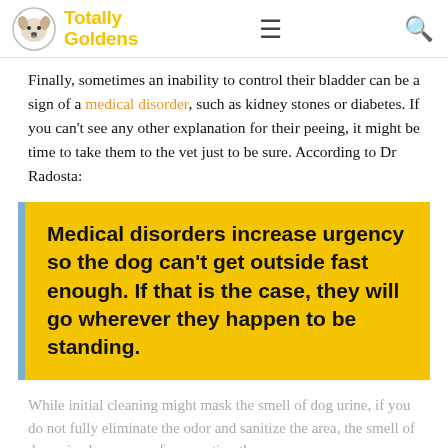Totally Goldens — navigation header
Finally, sometimes an inability to control their bladder can be a sign of a medical disorder, such as kidney stones or diabetes. If you can't see any other explanation for their peeing, it might be time to take them to the vet just to be sure. According to Dr Radosta:
Medical disorders increase urgency so the dog can't get outside fast enough. If that is the case, they will go wherever they happen to be standing.
While initial cleaning might mask the smell of dog urine, if you do not fully eliminate the odor and sanitize the area, the smell of dog urine has a way of permeating the